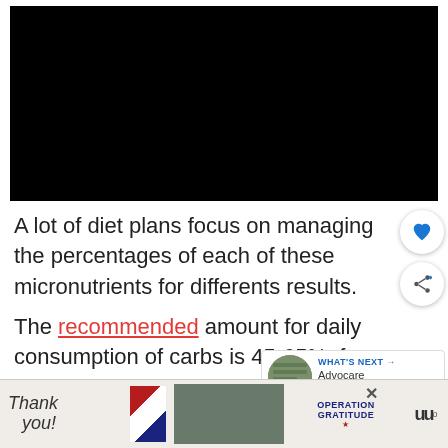[Figure (photo): Black video player area at top of page]
A lot of diet plans focus on managing the percentages of each of these micronutrients for differents results.
The recommended amount for daily consumption of carbs is 45-65%, for fats, it is 20...
[Figure (infographic): WHAT'S NEXT arrow box with Advocare Spark... thumbnail]
[Figure (photo): Operation Gratitude advertisement banner at bottom]